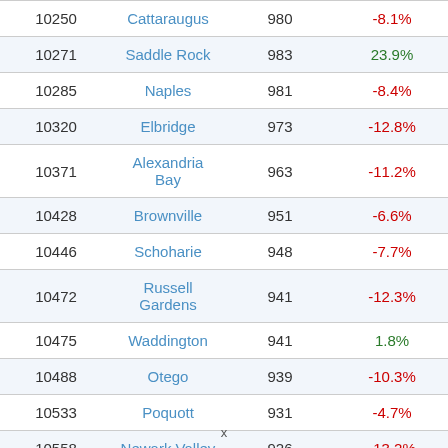|  | Name | Value | Change |
| --- | --- | --- | --- |
| 10250 | Cattaraugus | 980 | -8.1% |
| 10271 | Saddle Rock | 983 | 23.9% |
| 10285 | Naples | 981 | -8.4% |
| 10320 | Elbridge | 973 | -12.8% |
| 10371 | Alexandria Bay | 963 | -11.2% |
| 10428 | Brownville | 951 | -6.6% |
| 10446 | Schoharie | 948 | -7.7% |
| 10472 | Russell Gardens | 941 | -12.3% |
| 10475 | Waddington | 941 | 1.8% |
| 10488 | Otego | 939 | -10.3% |
| 10533 | Poquott | 931 | -4.7% |
| 10558 | Newark Valley | 926 | -13.2% |
| 10560 | Hillburn | 925 | 4.9% |